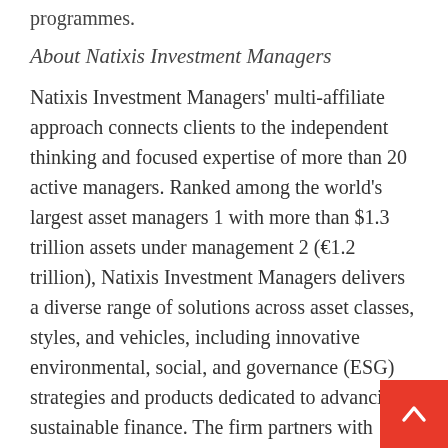programmes.
About Natixis Investment Managers
Natixis Investment Managers' multi-affiliate approach connects clients to the independent thinking and focused expertise of more than 20 active managers. Ranked among the world's largest asset managers 1 with more than $1.3 trillion assets under management 2 (€1.2 trillion), Natixis Investment Managers delivers a diverse range of solutions across asset classes, styles, and vehicles, including innovative environmental, social, and governance (ESG) strategies and products dedicated to advancing sustainable finance. The firm partners with clients in order to understand their unique needs and provide insights and investment solutions tailored to their